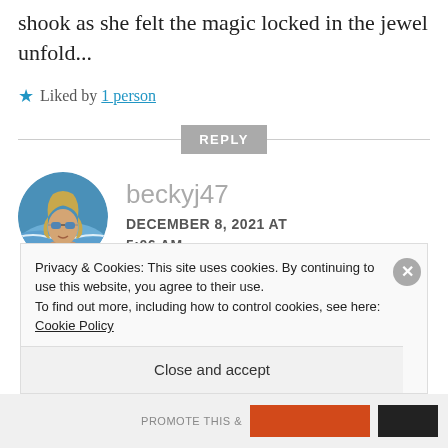shook as she felt the magic locked in the jewel unfold...
★ Liked by 1 person
REPLY
[Figure (photo): Circular avatar photo of user beckyj47, a woman with blonde hair and sunglasses at the beach]
beckyj47
DECEMBER 8, 2021 AT 5:06 AM
Privacy & Cookies: This site uses cookies. By continuing to use this website, you agree to their use.
To find out more, including how to control cookies, see here:
Cookie Policy
Close and accept